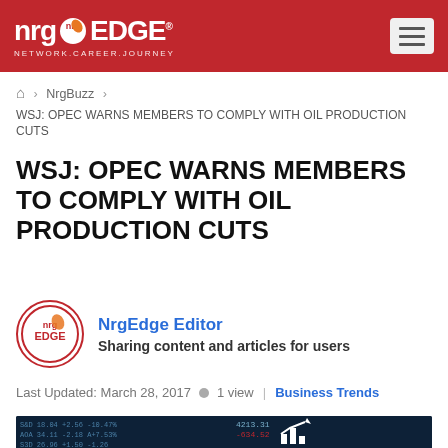nrgEDGE — NETWORK.CAREER.JOURNEY
🏠 > NrgBuzz > WSJ: OPEC WARNS MEMBERS TO COMPLY WITH OIL PRODUCTION CUTS
WSJ: OPEC WARNS MEMBERS TO COMPLY WITH OIL PRODUCTION CUTS
NrgEdge Editor
Sharing content and articles for users
Last Updated: March 28, 2017  •  1 view  |  Business Trends
[Figure (photo): Stock market financial data screen with trading numbers and an upward arrow chart icon overlay on dark blue background]